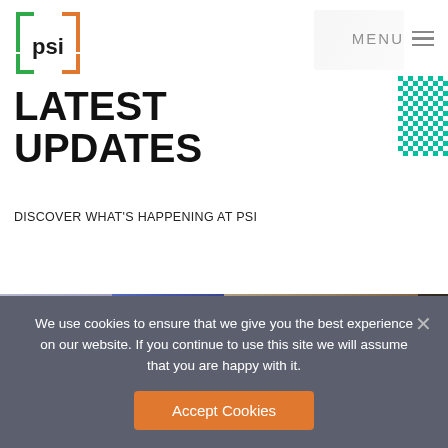[Figure (logo): PSI logo — square bracket design with orange and green corners, 'psi' text inside]
MENU
LATEST UPDATES
DISCOVER WHAT'S HAPPENING AT PSI
[Figure (photo): Two side-by-side photographs partially visible: left photo shows a person in white clothing near colorful patterned fabric; right photo shows an interior room with items on walls]
We use cookies to ensure that we give you the best experience on our website. If you continue to use this site we will assume that you are happy with it.
Accept Cookies